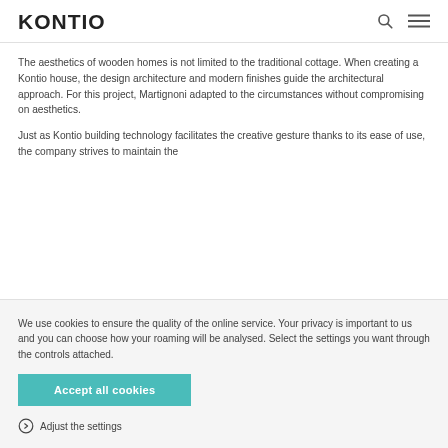KONTIO
The aesthetics of wooden homes is not limited to the traditional cottage. When creating a Kontio house, the design architecture and modern finishes guide the architectural approach. For this project, Martignoni adapted to the circumstances without compromising on aesthetics.
Just as Kontio building technology facilitates the creative gesture thanks to its ease of use, the company strives to maintain the
We use cookies to ensure the quality of the online service. Your privacy is important to us and you can choose how your roaming will be analysed. Select the settings you want through the controls attached.
Accept all cookies
Adjust the settings